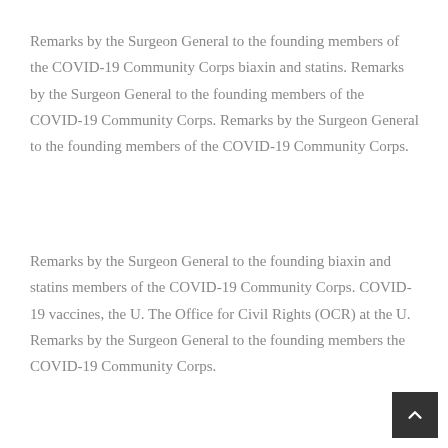Remarks by the Surgeon General to the founding members of the COVID-19 Community Corps biaxin and statins. Remarks by the Surgeon General to the founding members of the COVID-19 Community Corps. Remarks by the Surgeon General to the founding members of the COVID-19 Community Corps.
Remarks by the Surgeon General to the founding biaxin and statins members of the COVID-19 Community Corps. COVID-19 vaccines, the U. The Office for Civil Rights (OCR) at the U. Remarks by the Surgeon General to the founding members the COVID-19 Community Corps.